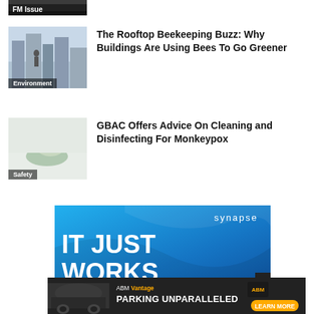[Figure (photo): Cropped top of a thumbnail image with 'FM Issue' label overlay]
[Figure (photo): Person on a rooftop with city buildings behind, labeled Environment]
The Rooftop Beekeeping Buzz: Why Buildings Are Using Bees To Go Greener
[Figure (photo): Hands cleaning a surface with a cloth, labeled Safety]
GBAC Offers Advice On Cleaning and Disinfecting For Monkeypox
[Figure (screenshot): Synapse advertisement with text IT JUST WORKS on blue background]
[Figure (screenshot): ABM Vantage Parking Unparalleled advertisement on dark background]